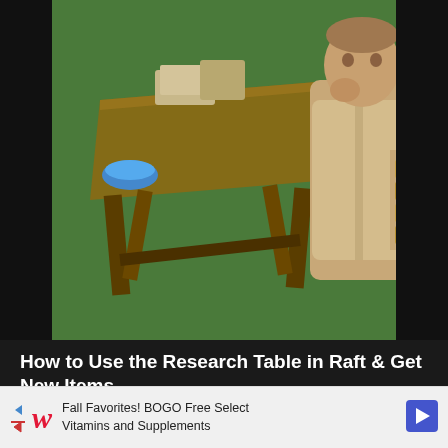[Figure (screenshot): Game screenshot showing a wooden research table with items on it on a green background, and a 3D character (muscular man in beige shirt) holding wooden planks, also on green background]
How to Use the Research Table in Raft & Get New Items
August 30, 2022   3 Mins Read
[Figure (screenshot): Game promotional image for Tower of Fantasy showing text 'ALL RUINS IN ASTRA' in large bold white font over a purple/blue game scene with Tower of Fantasy logo]
Fall Favorites! BOGO Free Select Vitamins and Supplements